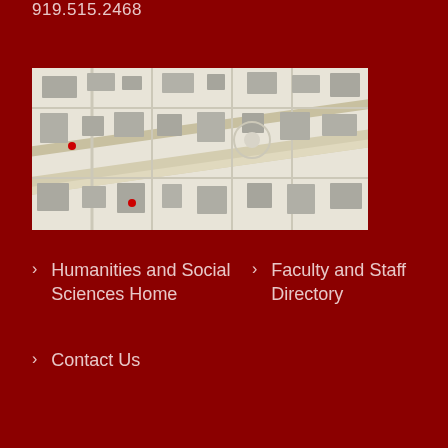919.515.2468
[Figure (map): Campus map showing buildings and roads of NC State University area, displayed at an angle with gray buildings on light background]
Humanities and Social Sciences Home
Faculty and Staff Directory
Contact Us